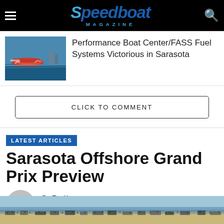Speedboat Magazine
[Figure (photo): Speedboat racing on water, red and white boat at speed]
Performance Boat Center/FASS Fuel Systems Victorious in Sarasota
CLICK TO COMMENT
LATEST ARTICLES
Sarasota Offshore Grand Prix Preview
By Brett  Posted on June 16, 2021
[Figure (photo): Aerial beach scene with crowd and vehicles on shoreline]